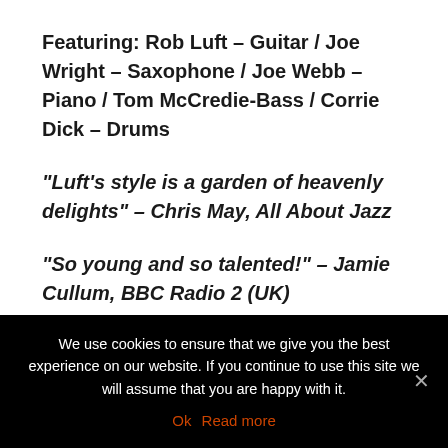Featuring: Rob Luft – Guitar / Joe Wright – Saxophone / Joe Webb – Piano / Tom McCredie-Bass / Corrie Dick – Drums
“Luft’s style is a garden of heavenly delights” – Chris May, All About Jazz
“So young and so talented!” – Jamie Cullum, BBC Radio 2 (UK)
Rob Luft is one of the UK’s most prominent and talented young contemporary jazz guitarists.
We use cookies to ensure that we give you the best experience on our website. If you continue to use this site we will assume that you are happy with it.
Ok   Read more